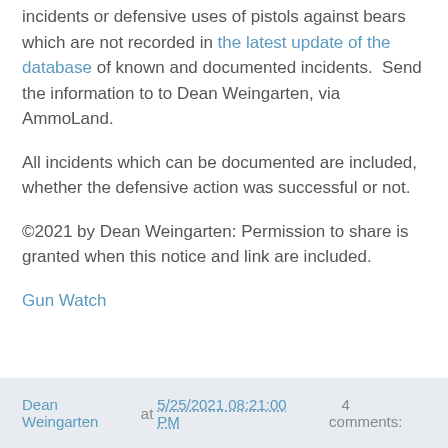incidents or defensive uses of pistols against bears which are not recorded in the latest update of the database of known and documented incidents.  Send the information to to Dean Weingarten, via AmmoLand.
All incidents which can be documented are included, whether the defensive action was successful or not.
©2021 by Dean Weingarten: Permission to share is granted when this notice and link are included.
Gun Watch
Dean Weingarten at 5/25/2021 08:21:00 PM    4 comments: